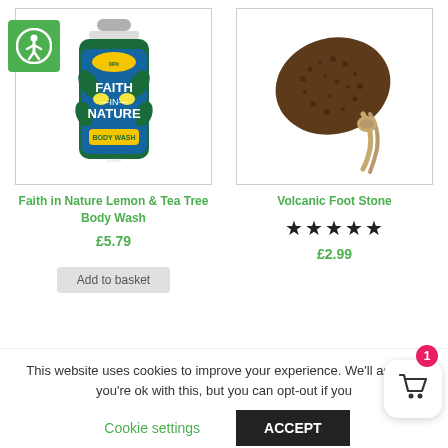[Figure (screenshot): Accessibility icon - green square with white person in circle]
[Figure (photo): Faith in Nature Lemon & Tea Tree Body Wash bottle with green and blue label]
Faith in Nature Lemon & Tea Tree Body Wash
£5.79
[Figure (photo): Volcanic Foot Stone - brown oval pumice stone with rope handle]
Volcanic Foot Stone
★★★★★
£2.99
This website uses cookies to improve your experience. We'll assume you're ok with this, but you can opt-out if you
Cookie settings
ACCEPT